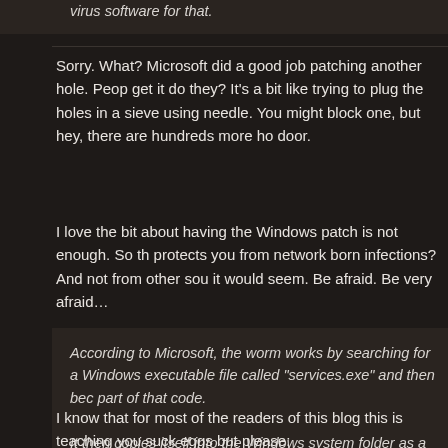virus software for that.
Sorry. What? Microsoft did a good job patching another hole. People don't get it do they? It's a bit like trying to plug the holes in a sieve using a needle. You might block one, but hey, there are hundreds more holes in door.
I love the bit about having the Windows patch is not enough. So the patch protects you from network born infections? And not from other sources, it would seem. Be afraid. Be very afraid…
According to Microsoft, the worm works by searching for a Windows executable file called "services.exe" and then becoming part of that code.

It then copies itself into the Windows system folder as a random file of a type known as a "dll". It gives itself a 5-8 character name, such as piftoc.dll, and then modifies the Registry, which lists key Windows settings, to run the infected dll file as a service.
I know that for most of the readers of this blog this is teaching you to suck eggs but please: